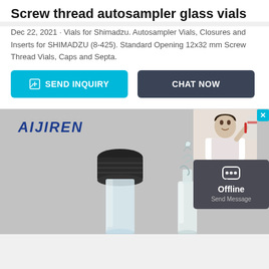Screw thread autosampler glass vials
Dec 22, 2021 · Vials for Shimadzu. Autosampler Vials, Closures and Inserts for SHIMADZU (8-425). Standard Opening 12x32 mm Screw Thread Vials, Caps and Septa.
[Figure (screenshot): Two buttons: 'SEND INQUIRY' (cyan/teal background) and 'CHAT NOW' (dark gray background)]
[Figure (photo): Product photo showing Aijiren brand autosampler glass vials: one vial with a black screw cap and one open glass insert vial, on a gray background. Brand logo 'AIJIREN' visible top left. A chat widget overlay shows a woman in a lab coat, with an 'Offline / Send Message' chat box.]